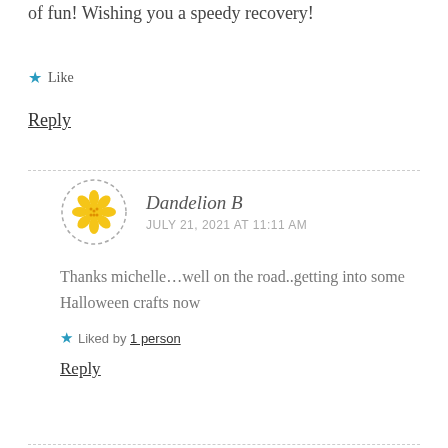of fun! Wishing you a speedy recovery!
★ Like
Reply
Dandelion B
JULY 21, 2021 AT 11:11 AM
Thanks michelle...well on the road..getting into some Halloween crafts now
★ Liked by 1 person
Reply